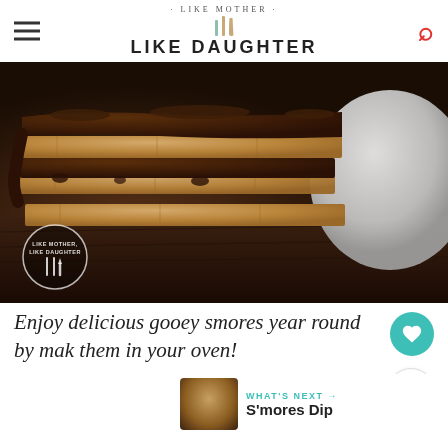LIKE MOTHER LIKE DAUGHTER
[Figure (photo): Close-up photo of s'mores stacked with chocolate sauce dripping over graham crackers, on a dark wooden surface, with a marshmallow in the background. Like Mother Like Daughter watermark logo in bottom left.]
Enjoy delicious gooey smores year round by mak them in your oven!
WHAT'S NEXT → S'mores Dip